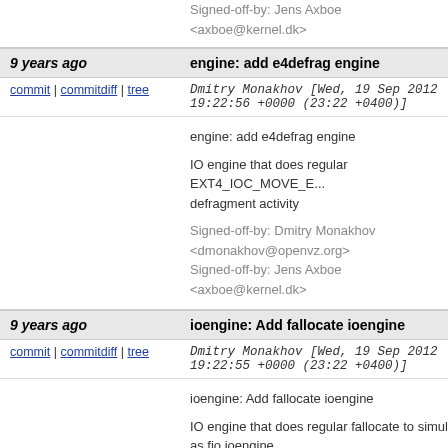Signed-off-by: Jens Axboe <axboe@kernel.dk>
9 years ago   engine: add e4defrag engine
commit | commitdiff | tree   Dmitry Monakhov [Wed, 19 Sep 2012 19:22:56 +0000 (23:22 +0400)]
engine: add e4defrag engine

IO engine that does regular EXT4_IOC_MOVE_E... defragment activity

Signed-off-by: Dmitry Monakhov <dmonakhov@openvz.org>
Signed-off-by: Jens Axboe <axboe@kernel.dk>
9 years ago   ioengine: Add fallocate ioengine
commit | commitdiff | tree   Dmitry Monakhov [Wed, 19 Sep 2012 19:22:55 +0000 (23:22 +0400)]
ioengine: Add fallocate ioengine

IO engine that does regular fallocate to simulate d... as fio ioengine.
 DDIR_READ  does fallocate(,mode=FALLOC_FL...
 DDIR_WRITE does fallocate(,mode=0) : fallocate...
 DDIR_TRIM  does fallocate(FALLOC_FL_KEEP_...